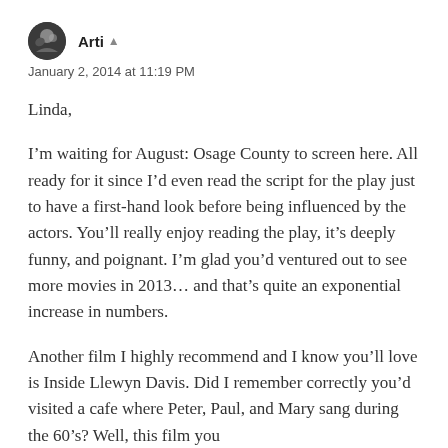Arti · January 2, 2014 at 11:19 PM
Linda,
I'm waiting for August: Osage County to screen here. All ready for it since I'd even read the script for the play just to have a first-hand look before being influenced by the actors. You'll really enjoy reading the play, it's deeply funny, and poignant. I'm glad you'd ventured out to see more movies in 2013… and that's quite an exponential increase in numbers.
Another film I highly recommend and I know you'll love is Inside Llewyn Davis. Did I remember correctly you'd visited a cafe where Peter, Paul, and Mary sang during the 60's? Well, this film you